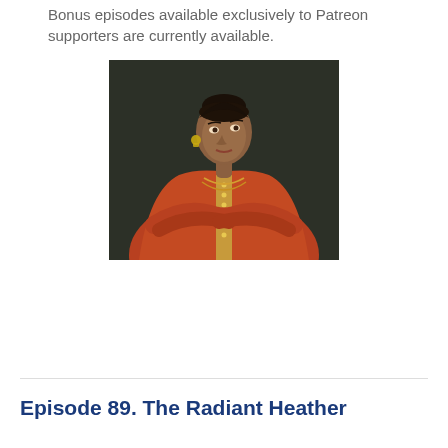Bonus episodes available exclusively to Patreon supporters are currently available.
[Figure (photo): A woman with dark hair pulled back, wearing a red and gold embroidered traditional garment, arms crossed, looking upward. Dark background.]
Episode 89. The Radiant Heather